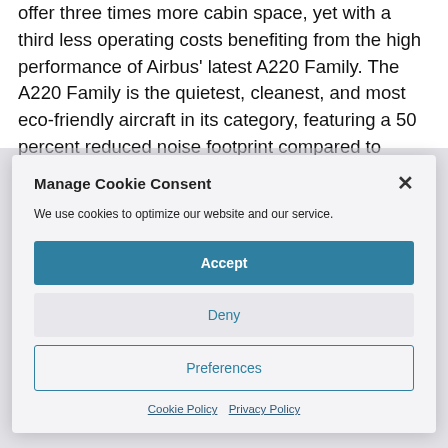offer three times more cabin space, yet with a third less operating costs benefiting from the high performance of Airbus' latest A220 Family. The A220 Family is the quietest, cleanest, and most eco-friendly aircraft in its category, featuring a 50 percent reduced noise footprint compared to
Manage Cookie Consent
We use cookies to optimize our website and our service.
Accept
Deny
Preferences
Cookie Policy  Privacy Policy